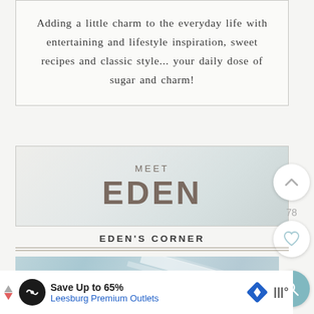Adding a little charm to the everyday life with entertaining and lifestyle inspiration, sweet recipes and classic style... your daily dose of sugar and charm!
[Figure (illustration): Banner with 'MEET EDEN' text on a soft gradient grey/blue background]
EDEN'S CORNER
[Figure (photo): Light blue tinted photo with diagonal light streaks]
Save Up to 65% Leesburg Premium Outlets